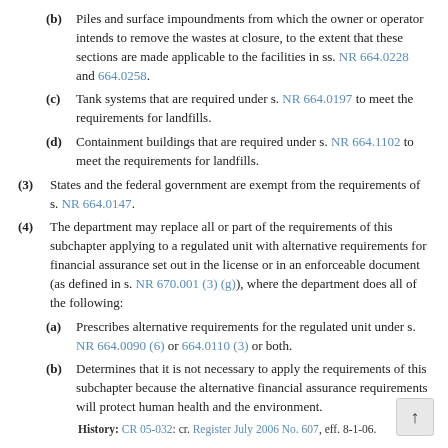(b) Piles and surface impoundments from which the owner or operator intends to remove the wastes at closure, to the extent that these sections are made applicable to the facilities in ss. NR 664.0228 and 664.0258.
(c) Tank systems that are required under s. NR 664.0197 to meet the requirements for landfills.
(d) Containment buildings that are required under s. NR 664.1102 to meet the requirements for landfills.
(3) States and the federal government are exempt from the requirements of s. NR 664.0147.
(4) The department may replace all or part of the requirements of this subchapter applying to a regulated unit with alternative requirements for financial assurance set out in the license or in an enforceable document (as defined in s. NR 670.001 (3) (g)), where the department does all of the following:
(a) Prescribes alternative requirements for the regulated unit under s. NR 664.0090 (6) or 664.0110 (3) or both.
(b) Determines that it is not necessary to apply the requirements of this subchapter because the alternative financial assurance requirements will protect human health and the environment.
History: CR 05-032: cr. Register July 2006 No. 607, eff. 8-1-06.
NR 664.0141 Definitions. When used in this subchapter, the following terms have the meanings given below: